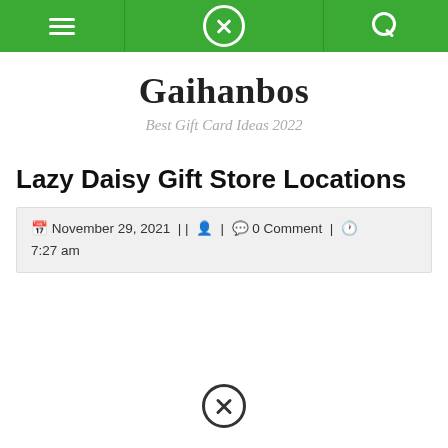Gaihanbos navigation bar with hamburger menu, close button, and search icon
Gaihanbos
Best Gift Card Ideas 2022
Lazy Daisy Gift Store Locations
November 29, 2021 | | [user icon] | [comment icon] 0 Comment | [clock icon] 7:27 am